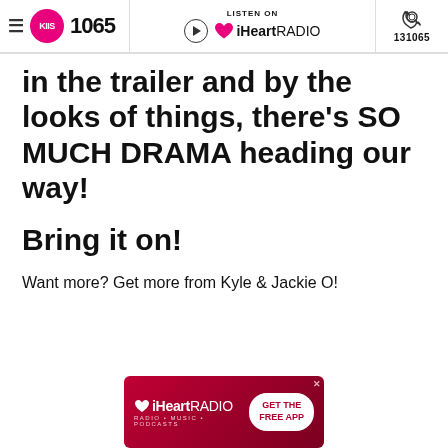KIIS 1065 | LISTEN ON iHeartRADIO | 131065
in the trailer and by the looks of things, there's SO MUCH DRAMA heading our way!
Bring it on!
Want more? Get more from Kyle & Jackie O!
[Figure (advertisement): iHeartRADIO banner ad with GET THE FREE APP button]